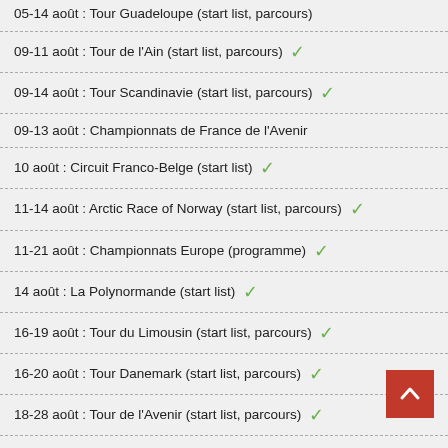05-14 août : Tour Guadeloupe (start list, parcours)
09-11 août : Tour de l'Ain (start list, parcours) ✓
09-14 août : Tour Scandinavie (start list, parcours) ✓
09-13 août : Championnats de France de l'Avenir
10 août : Circuit Franco-Belge (start list) ✓
11-14 août : Arctic Race of Norway (start list, parcours) ✓
11-21 août : Championnats Europe (programme) ✓
14 août : La Polynormande (start list) ✓
16-19 août : Tour du Limousin (start list, parcours) ✓
16-20 août : Tour Danemark (start list, parcours) ✓
18-28 août : Tour de l'Avenir (start list, parcours) ✓
19 août-11 sept : Vuelta (start list, parcours) ✓